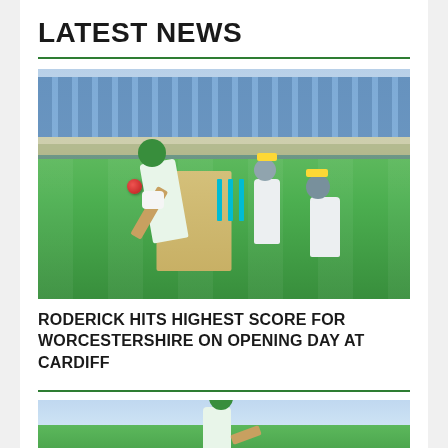LATEST NEWS
[Figure (photo): Cricket match photo showing a batsman bent forward playing a defensive shot, with wicketkeeper and slip fielder crouching behind the stumps. Blue seats visible in grandstand background. Green outfield. Red cricket ball visible.]
RODERICK HITS HIGHEST SCORE FOR WORCESTERSHIRE ON OPENING DAY AT CARDIFF
[Figure (photo): Second cricket photo showing a batsman in green cap playing a shot, partially visible at bottom of page.]